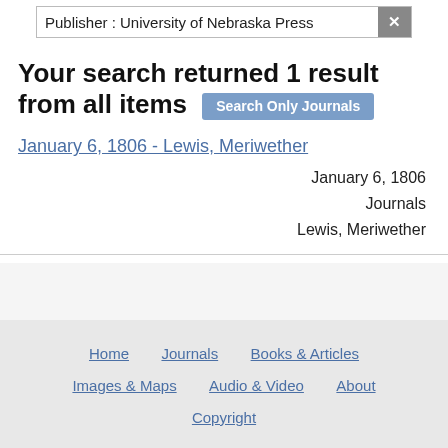Publisher : University of Nebraska Press
Your search returned 1 result from all items
Search Only Journals
January 6, 1806 - Lewis, Meriwether
January 6, 1806
Journals
Lewis, Meriwether
Home   Journals   Books & Articles   Images & Maps   Audio & Video   About   Copyright